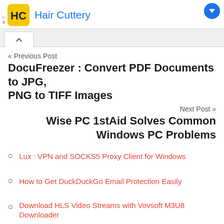[Figure (logo): Hair Cuttery advertisement banner with logo and brand name in blue]
« Previous Post
DocuFreezer : Convert PDF Documents to JPG, PNG to TIFF Images
Next Post »
Wise PC 1stAid Solves Common Windows PC Problems
Lux : VPN and SOCKS5 Proxy Client for Windows
How to Get DuckDuckGo Email Protection Easily
Download HLS Video Streams with Vovsoft M3U8 Downloader